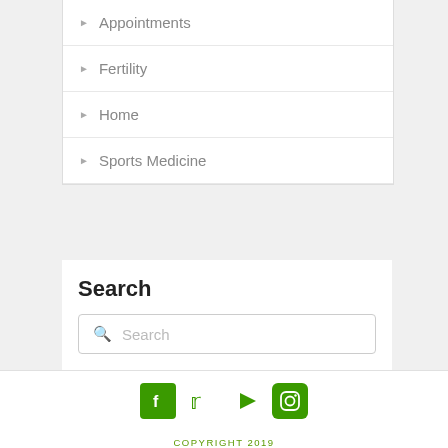Appointments
Fertility
Home
Sports Medicine
Search
Search
[Figure (infographic): Social media icons: Facebook, Twitter, YouTube, Instagram in green]
COPYRIGHT 2019 LAWRENCE MILLER, L.AC. LARRY@VENICEACUPUNCTURE.COM